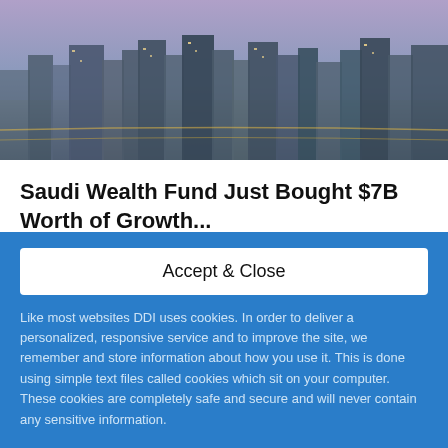[Figure (photo): Aerial cityscape photo of a large urban area at dusk/evening, with tall buildings, roads with lights, and a purple-hued sky]
Saudi Wealth Fund Just Bought $7B Worth of Growth...
Sam Warain
Aug 27, 2022 · 4 min read · 132
Accept & Close
Like most websites DDI uses cookies. In order to deliver a personalized, responsive service and to improve the site, we remember and store information about how you use it. This is done using simple text files called cookies which sit on your computer. These cookies are completely safe and secure and will never contain any sensitive information.